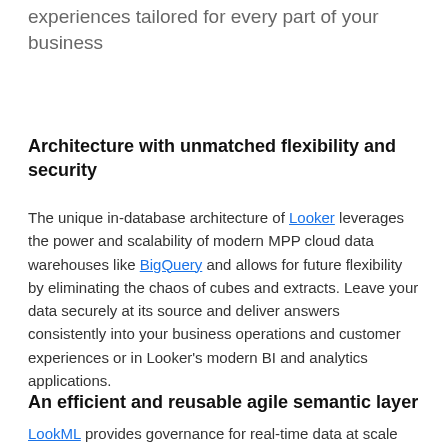experiences tailored for every part of your business
Architecture with unmatched flexibility and security
The unique in-database architecture of Looker leverages the power and scalability of modern MPP cloud data warehouses like BigQuery and allows for future flexibility by eliminating the chaos of cubes and extracts. Leave your data securely at its source and deliver answers consistently into your business operations and customer experiences or in Looker's modern BI and analytics applications.
An efficient and reusable agile semantic layer
LookML provides governance for real-time data at scale and a single, shared place for people and apps